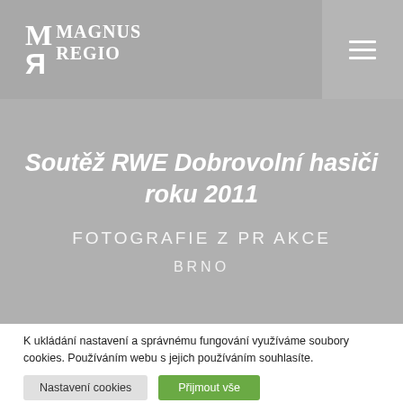M MAGNUS REGIO
Soutěž RWE Dobrovolní hasiči roku 2011
FOTOGRAFIE Z PR AKCE
BRNO
K ukládání nastavení a správnému fungování využíváme soubory cookies. Používáním webu s jejich používáním souhlasíte.
Nastavení cookies | Přijmout vše